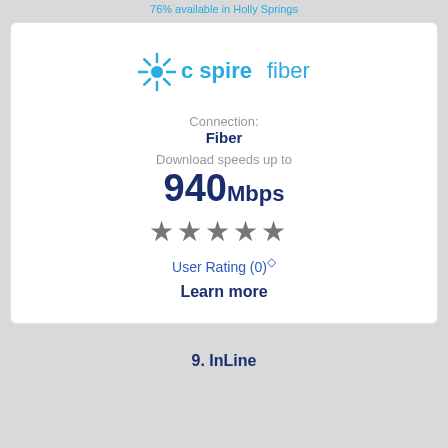76% available in Holly Springs
[Figure (logo): C Spire Fiber logo in cyan/blue]
Connection:
Fiber
Download speeds up to
940Mbps
[Figure (other): 5 filled star rating icons in grey]
User Rating (0)◇
Learn more
9. InLine